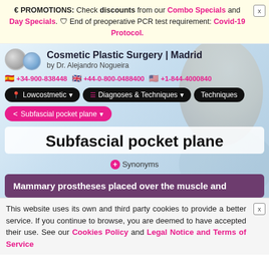€ PROMOTIONS: Check discounts from our Combo Specials and Day Specials. 🛡 End of preoperative PCR test requirement: Covid-19 Protocol.
Cosmetic Plastic Surgery | Madrid by Dr. Alejandro Nogueira
+34-900-838448 +44-0-800-0488400 +1-844-4000840
Lowcostmetic ▾  Diagnoses & Techniques ▾  Techniques
< Subfascial pocket plane ▾
Subfascial pocket plane
+ Synonyms
Mammary prostheses placed over the muscle and
This website uses its own and third party cookies to provide a better service. If you continue to browse, you are deemed to have accepted their use. See our Cookies Policy and Legal Notice and Terms of Service